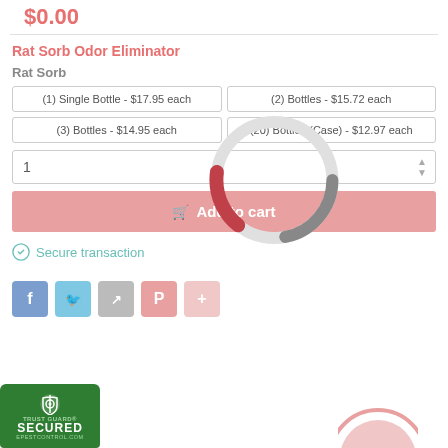$0.00
Rat Sorb Odor Eliminator
Rat Sorb
(1) Single Bottle - $17.95 each
(2) Bottles - $15.72 each
(3) Bottles - $14.95 each
(20) Bottles (Case) - $12.97 each
1
Add to cart
Secure transaction
[Figure (logo): Trust Guard Secured badge - green shield with lock icon, text TRUST GUARD SECURED EPESTCONTROL.COM]